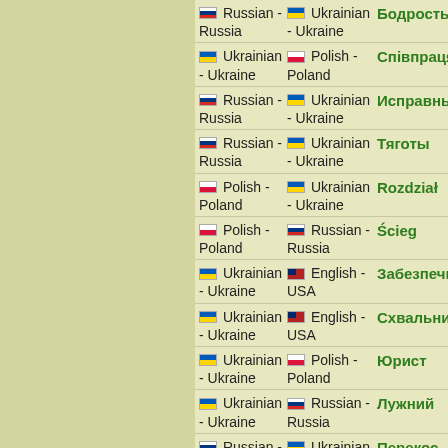| From | To | Word |
| --- | --- | --- |
| Russian - Russia | Ukrainian - Ukraine | Бодрость |
| Ukrainian - Ukraine | Polish - Poland | Співпраця |
| Russian - Russia | Ukrainian - Ukraine | Исправный |
| Russian - Russia | Ukrainian - Ukraine | Тяготы |
| Polish - Poland | Ukrainian - Ukraine | Rozdział |
| Polish - Poland | Russian - Russia | Ścieg |
| Ukrainian - Ukraine | English - USA | Забезпечити |
| Ukrainian - Ukraine | English - USA | Схвальний |
| Ukrainian - Ukraine | Polish - Poland | Юрист |
| Ukrainian - Ukraine | Russian - Russia | Лужний |
| Russian - Russia | Ukrainian - Ukraine | Перекос |
| Ukrainian - Ukraine | Polish - Poland | Турбота |